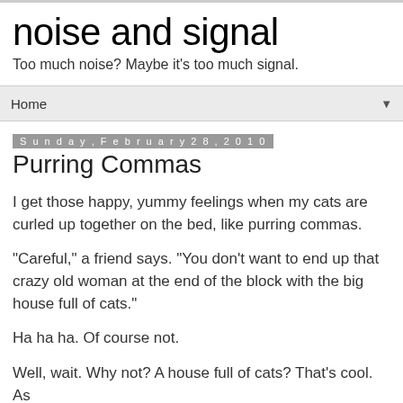noise and signal
Too much noise? Maybe it's too much signal.
Home ▼
Sunday, February 28, 2010
Purring Commas
I get those happy, yummy feelings when my cats are curled up together on the bed, like purring commas.
"Careful," a friend says. "You don't want to end up that crazy old woman at the end of the block with the big house full of cats."
Ha ha ha. Of course not.
Well, wait. Why not? A house full of cats? That's cool. As